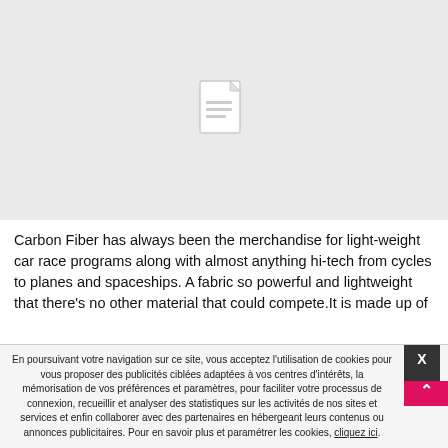[Figure (illustration): Gray placeholder box with a document/file icon centered in it]
Carbon Fiber has always been the merchandise for light-weight car race programs along with almost anything hi-tech from cycles to planes and spaceships. A fabric so powerful and lightweight that there's no other material that could compete.It is made up of
En poursuivant votre navigation sur ce site, vous acceptez l'utilisation de cookies pour vous proposer des publicités ciblées adaptées à vos centres d'intérêts, la mémorisation de vos préférences et paramètres, pour faciliter votre processus de connexion, recueillir et analyser des statistiques sur les activités de nos sites et services et enfin collaborer avec des partenaires en hébergeant leurs contenus ou annonces publicitaires. Pour en savoir plus et paramétrer les cookies, cliquez ici.